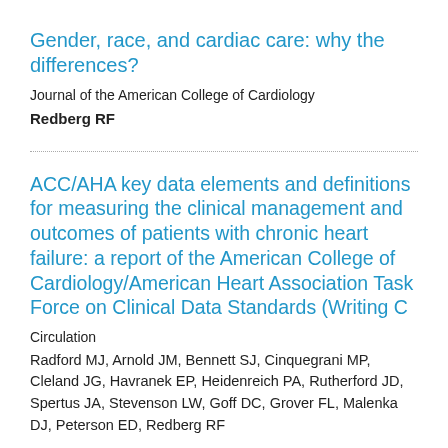Gender, race, and cardiac care: why the differences?
Journal of the American College of Cardiology
Redberg RF
ACC/AHA key data elements and definitions for measuring the clinical management and outcomes of patients with chronic heart failure: a report of the American College of Cardiology/American Heart Association Task Force on Clinical Data Standards (Writing C
Circulation
Radford MJ, Arnold JM, Bennett SJ, Cinquegrani MP, Cleland JG, Havranek EP, Heidenreich PA, Rutherford JD, Spertus JA, Stevenson LW, Goff DC, Grover FL, Malenka DJ, Peterson ED, Redberg RF